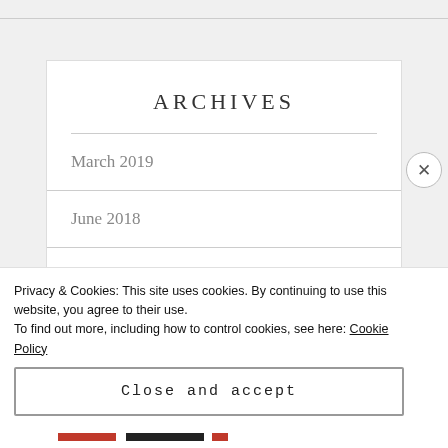ARCHIVES
March 2019
June 2018
April 2018
February 2018
Privacy & Cookies: This site uses cookies. By continuing to use this website, you agree to their use.
To find out more, including how to control cookies, see here: Cookie Policy
Close and accept